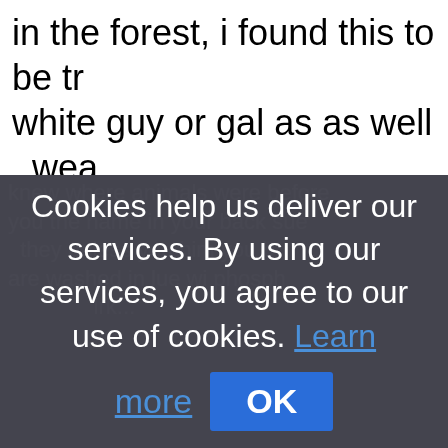in the forest, i found this to be tr white guy or gal as as well , wea loincloth proved to be enlighteni
knew where animals were before you the name in your back sue they unless you him you b are washed in lue wi phosph
Cookies help us deliver our services. By using our services, you agree to our use of cookies. Learn more